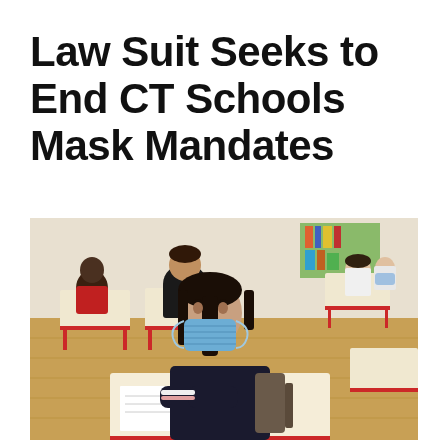Law Suit Seeks to End CT Schools Mask Mandates
[Figure (photo): Children sitting at school desks in a classroom, one girl in the foreground wearing a blue surgical mask with arms crossed, other students visible in the background without masks, red-framed school desks, warm-toned wooden floor.]